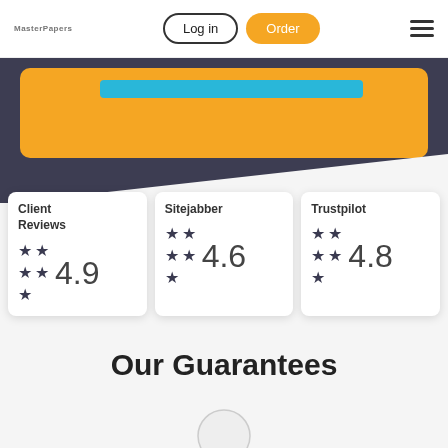MasterPapers | Log in | Order
[Figure (screenshot): Partially visible hero section with orange card and blue bar on dark background]
Client Reviews ★★★★★ 4.9
Sitejabber ★★★★★ 4.6
Trustpilot ★★★★ 4.8
Our Guarantees
[Figure (illustration): Partially visible icon at bottom center]